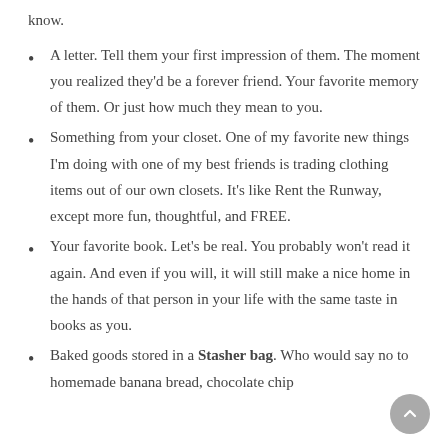know.
A letter. Tell them your first impression of them. The moment you realized they'd be a forever friend. Your favorite memory of them. Or just how much they mean to you.
Something from your closet. One of my favorite new things I'm doing with one of my best friends is trading clothing items out of our own closets. It's like Rent the Runway, except more fun, thoughtful, and FREE.
Your favorite book. Let's be real. You probably won't read it again. And even if you will, it will still make a nice home in the hands of that person in your life with the same taste in books as you.
Baked goods stored in a Stasher bag. Who would say no to homemade banana bread, chocolate chip